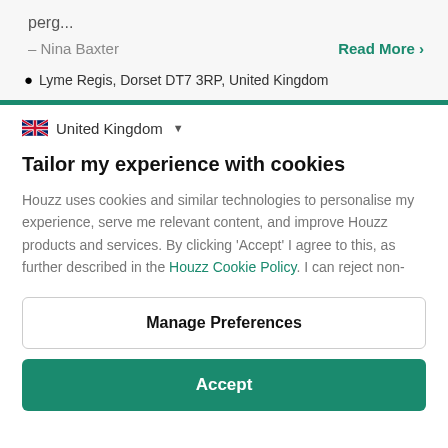perg...
– Nina Baxter
Read More >
Lyme Regis, Dorset DT7 3RP, United Kingdom
United Kingdom
Tailor my experience with cookies
Houzz uses cookies and similar technologies to personalise my experience, serve me relevant content, and improve Houzz products and services. By clicking 'Accept' I agree to this, as further described in the Houzz Cookie Policy. I can reject non-
Manage Preferences
Accept